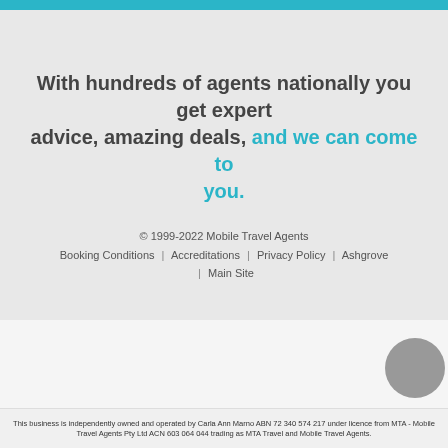With hundreds of agents nationally you get expert advice, amazing deals, and we can come to you.
© 1999-2022 Mobile Travel Agents Booking Conditions | Accreditations | Privacy Policy | Ashgrove | Main Site
This business is independently owned and operated by Carla Ann Marno ABN 72 340 574 217 under licence from MTA - Mobile Travel Agents Pty Ltd ACN 603 064 044 trading as MTA Travel and Mobile Travel Agents.